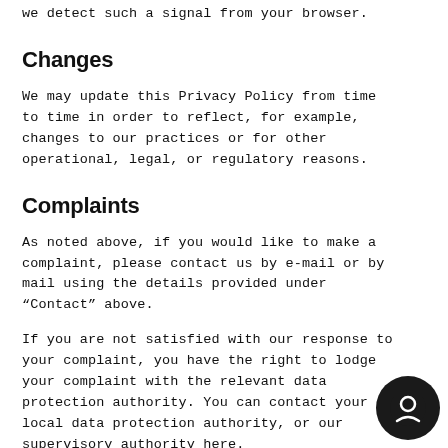we detect such a signal from your browser.
Changes
We may update this Privacy Policy from time to time in order to reflect, for example, changes to our practices or for other operational, legal, or regulatory reasons.
Complaints
As noted above, if you would like to make a complaint, please contact us by e-mail or by mail using the details provided under “Contact” above.
If you are not satisfied with our response to your complaint, you have the right to lodge your complaint with the relevant data protection authority. You can contact your local data protection authority, or our supervisory authority here.